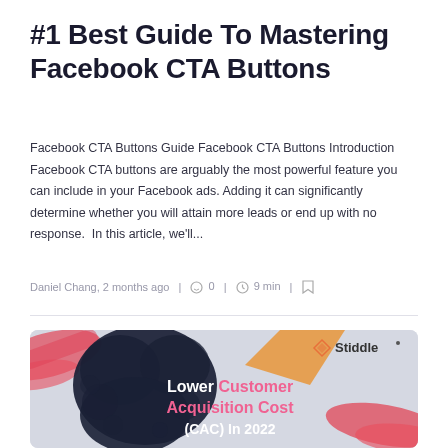#1 Best Guide To Mastering Facebook CTA Buttons
Facebook CTA Buttons Guide Facebook CTA Buttons Introduction Facebook CTA buttons are arguably the most powerful feature you can include in your Facebook ads. Adding it can significantly determine whether you will attain more leads or end up with no response.  In this article, we'll...
Daniel Chang, 2 months ago  |  ○ 0  |  ⏱ 9 min  |  🔖
[Figure (photo): Promotional image with dark ink splash background, red brush stroke accents, orange geometric shape, Stiddle logo in top right. Text reads: Lower Customer Acquisition Cost (CAC) In 2022]